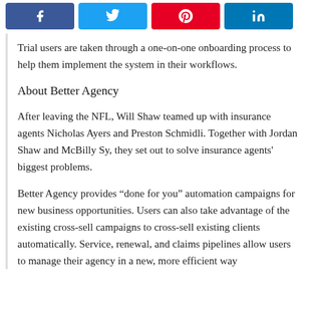[Figure (other): Social sharing buttons row: Facebook (blue), Twitter (light blue), Pinterest (red), LinkedIn (dark blue), each with respective icon]
Trial users are taken through a one-on-one onboarding process to help them implement the system in their workflows.
About Better Agency
After leaving the NFL, Will Shaw teamed up with insurance agents Nicholas Ayers and Preston Schmidli. Together with Jordan Shaw and McBilly Sy, they set out to solve insurance agents' biggest problems.
Better Agency provides “done for you” automation campaigns for new business opportunities. Users can also take advantage of the existing cross-sell campaigns to cross-sell existing clients automatically. Service, renewal, and claims pipelines allow users to manage their agency in a new, more efficient way